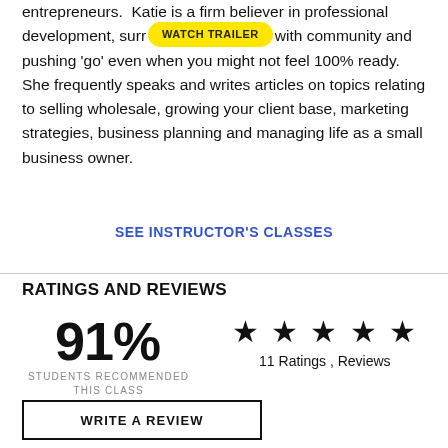entrepreneurs. Katie is a firm believer in professional development, surrounding yourself with community and pushing 'go' even when you might not feel 100% ready. She frequently speaks and writes articles on topics relating to selling wholesale, growing your client base, marketing strategies, business planning and managing life as a small business owner.
SEE INSTRUCTOR'S CLASSES
RATINGS AND REVIEWS
91%
STUDENTS RECOMMENDED THIS CLASS
11 Ratings , Reviews
WRITE A REVIEW